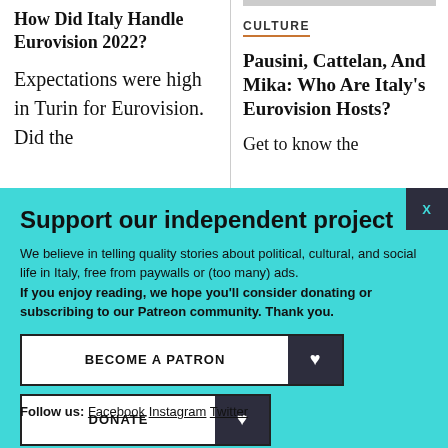How Did Italy Handle Eurovision 2022?
Expectations were high in Turin for Eurovision. Did the
CULTURE
Pausini, Cattelan, And Mika: Who Are Italy's Eurovision Hosts?
Get to know the
Support our independent project
We believe in telling quality stories about political, cultural, and social life in Italy, free from paywalls or (too many) ads. If you enjoy reading, we hope you'll consider donating or subscribing to our Patreon community. Thank you.
BECOME A PATRON
DONATE
Follow us: Facebook Instagram Twitter